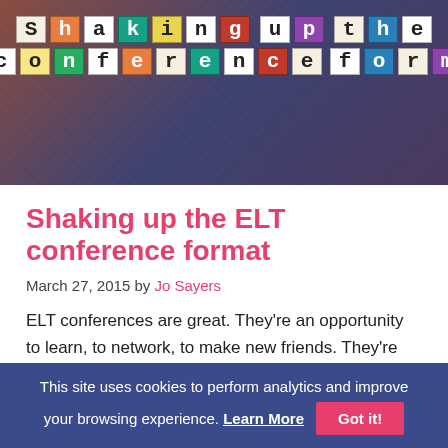[Figure (photo): Hero banner image showing a collage of letters spelling 'Shaking up the ELT conference format' on colorful cut-out letter tiles against a dark urban background photo]
Shaking up the ELT conference format
March 27, 2015 by Jo Sayers
ELT conferences are great. They're an opportunity to learn, to network, to make new friends. They're also a chance to enjoy
This site uses cookies to perform analytics and improve your browsing experience. Learn More Got it!